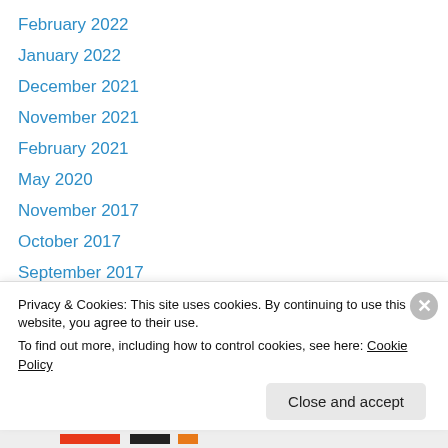February 2022
January 2022
December 2021
November 2021
February 2021
May 2020
November 2017
October 2017
September 2017
August 2017
July 2017
June 2017
January 2017
Privacy & Cookies: This site uses cookies. By continuing to use this website, you agree to their use.
To find out more, including how to control cookies, see here: Cookie Policy
Close and accept